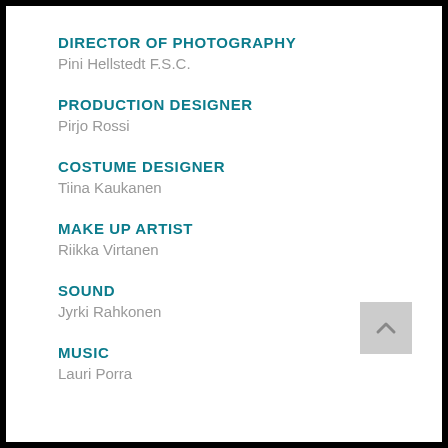DIRECTOR OF PHOTOGRAPHY
Pini Hellstedt F.S.C.
PRODUCTION DESIGNER
Pirjo Rossi
COSTUME DESIGNER
Tiina Kaukanen
MAKE UP ARTIST
Riikka Virtanen
SOUND
Jyrki Rahkonen
MUSIC
Lauri Porra